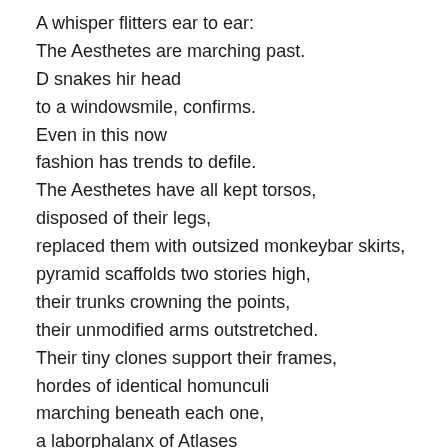A whisper flitters ear to ear:
The Aesthetes are marching past.
D snakes hir head
to a windowsmile, confirms.
Even in this now
fashion has trends to defile.
The Aesthetes have all kept torsos,
disposed of their legs,
replaced them with outsized monkeybar skirts,
pyramid scaffolds two stories high,
their trunks crowning the points,
their unmodified arms outstretched.
Their tiny clones support their frames,
hordes of identical homunculi
marching beneath each one,
a laborphalanx of Atlases